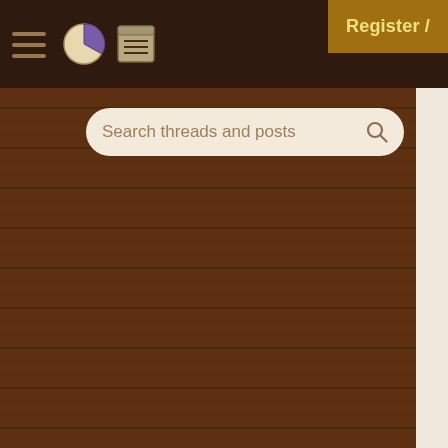Navigation header with hamburger menu, pie icon, list icon, and Register / button
Search threads and posts
At a serious crossroads... 7 replies
World Class Career Oppo... 0 replies
World Class Career Oppo... 0 replies
Java Opportunity-in BAY... 0 replies
Opening for Technical Au... Nov 2008, Pune) 0 replies